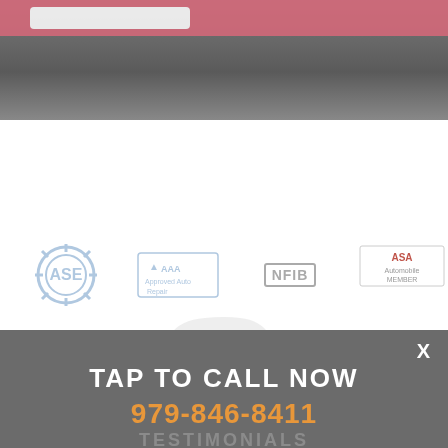[Figure (photo): Top banner with dark background photo of a person, overlaid with a pink/rose bar containing a white rounded button]
[Figure (logo): Row of four certification/membership logos: ASE (gear icon), AAA Approved Auto Repair, NFIB, and ASA Automobile Member]
X
TAP TO CALL NOW
979-846-8411
TESTIMONIALS